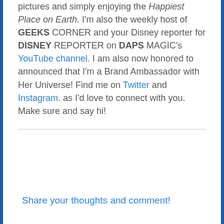pictures and simply enjoying the Happiest Place on Earth. I'm also the weekly host of GEEKS CORNER and your Disney reporter for DISNEY REPORTER on DAPS MAGIC's YouTube channel. I am also now honored to announced that I'm a Brand Ambassador with Her Universe! Find me on Twitter and Instagram. as I'd love to connect with you. Make sure and say hi!
Share your thoughts and comment!